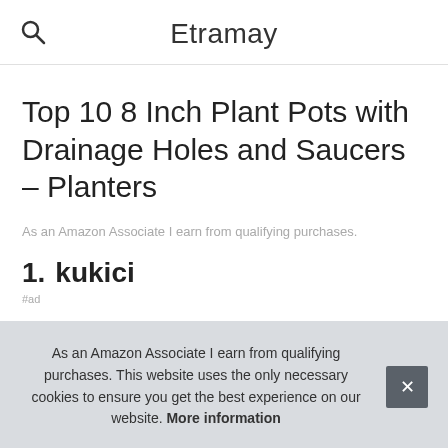Etramay
Top 10 8 Inch Plant Pots with Drainage Holes and Saucers – Planters
As an Amazon Associate I earn from qualifying purchases.
1. kukici
#ad
As an Amazon Associate I earn from qualifying purchases. This website uses the only necessary cookies to ensure you get the best experience on our website. More information